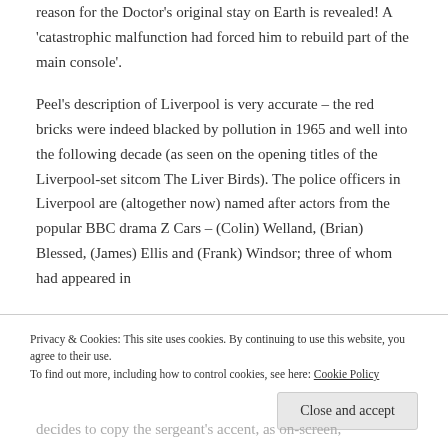reason for the Doctor's original stay on Earth is revealed! A 'catastrophic malfunction had forced him to rebuild part of the main console'.
Peel's description of Liverpool is very accurate – the red bricks were indeed blacked by pollution in 1965 and well into the following decade (as seen on the opening titles of the Liverpool-set sitcom The Liver Birds). The police officers in Liverpool are (altogether now) named after actors from the popular BBC drama Z Cars – (Colin) Welland, (Brian) Blessed, (James) Ellis and (Frank) Windsor; three of whom had appeared in
Privacy & Cookies: This site uses cookies. By continuing to use this website, you agree to their use. To find out more, including how to control cookies, see here: Cookie Policy
decides to copy the sergeant's accent, as on-screen,